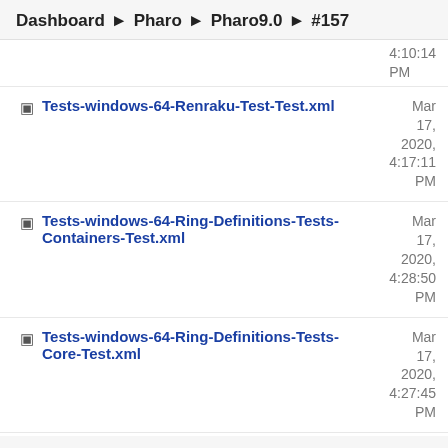Dashboard ▶ Pharo ▶ Pharo9.0 ▶ #157
4:10:14 PM
Tests-windows-64-Renraku-Test-Test.xml — Mar 17, 2020, 4:17:11 PM
Tests-windows-64-Ring-Definitions-Tests-Containers-Test.xml — Mar 17, 2020, 4:28:50 PM
Tests-windows-64-Ring-Definitions-Tests-Core-Test.xml — Mar 17, 2020, 4:27:45 PM
Tests-windows-64-Ring-Definitions-Tests-Monticello-Test.xml — Mar 17, 2020,